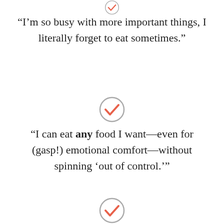[Figure (illustration): Partial gray circle checkmark icon with red/salmon check at top of page]
“I’m so busy with more important things, I literally forget to eat sometimes.”
[Figure (illustration): Gray circle checkmark icon with red/salmon check in middle of page]
“I can eat any food I want—even for (gasp!) emotional comfort—without spinning ‘out of control.’”
[Figure (illustration): Gray circle checkmark icon with red/salmon check at bottom of page]